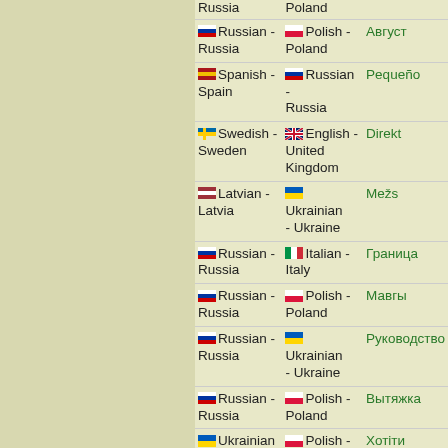| Language 1 | Language 2 | Word |
| --- | --- | --- |
| Russia | Poland |  |
| 🇷🇺 Russian - Russia | 🇵🇱 Polish - Poland | Август |
| 🇪🇸 Spanish - Spain | 🇷🇺 Russian - Russia | Pequeño |
| 🇸🇪 Swedish - Sweden | 🇬🇧 English - United Kingdom | Direkt |
| 🇱🇻 Latvian - Latvia | 🇺🇦 Ukrainian - Ukraine | Mežs |
| 🇷🇺 Russian - Russia | 🇮🇹 Italian - Italy | Граница |
| 🇷🇺 Russian - Russia | 🇵🇱 Polish - Poland | Мавгы |
| 🇷🇺 Russian - Russia | 🇺🇦 Ukrainian - Ukraine | Руководство |
| 🇷🇺 Russian - Russia | 🇵🇱 Polish - Poland | Вытяжка |
| 🇺🇦 Ukrainian - Ukraine | 🇵🇱 Polish - Poland | Хотіти |
| 🇧🇾 Belarusian - Belarus | 🇺🇸 English - USA | Вячэра |
| 🇩🇪 German - Germany | 🇺🇦 Ukrainian - Ukraine | Staunen |